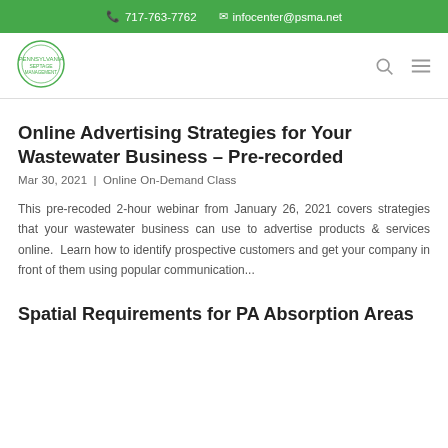717-763-7762   infocenter@psma.net
[Figure (logo): PSMA circular logo in green outline]
Online Advertising Strategies for Your Wastewater Business – Pre-recorded
Mar 30, 2021 | Online On-Demand Class
This pre-recoded 2-hour webinar from January 26, 2021 covers strategies that your wastewater business can use to advertise products & services online.  Learn how to identify prospective customers and get your company in front of them using popular communication...
Spatial Requirements for PA Absorption Areas